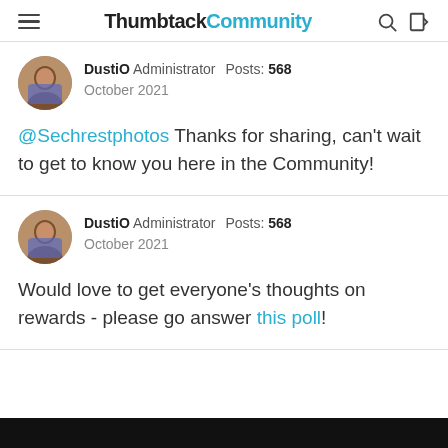Thumbtack Community
DustiO Administrator Posts: 568 October 2021
@Sechrestphotos Thanks for sharing, can't wait to get to know you here in the Community!
DustiO Administrator Posts: 568 October 2021
Would love to get everyone's thoughts on rewards - please go answer this poll!